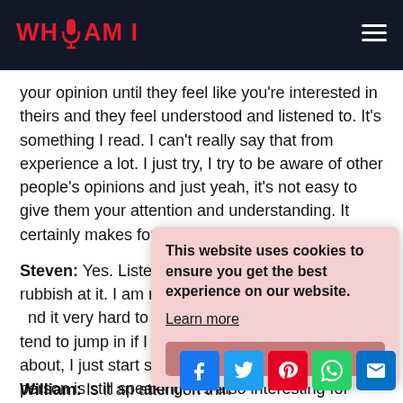WHO AM I
your opinion until they feel like you're interested in theirs and they feel understood and listened to. It's something I read. I can't really say that from experience a lot. I just try, I try to be aware of other people's opinions and just yeah, it's not easy to give them your attention and understanding. It certainly makes for better relationships.
Steven: Yes. Listening is a difficult skill. I am rubbish at it. I am really bad at it. I find it very hard to just discuss things without... I tend to jump in if I hear something I want to speak about, I just start speaking and then I interrupt people. But that's probably interesting for the listeners as well because I imagine just like not...
This website uses cookies to ensure you get the best experience on our website. Learn more
William: Is it an attention thin